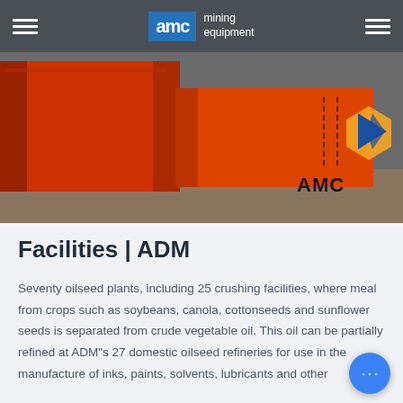AMC mining equipment
[Figure (photo): Industrial mining equipment — orange metal bins or chutes in a workshop, with AMC logo visible on the right side]
Facilities | ADM
Seventy oilseed plants, including 25 crushing facilities, where meal from crops such as soybeans, canola, cottonseeds and sunflower seeds is separated from crude vegetable oil. This oil can be partially refined at ADM"s 27 domestic oilseed refineries for use in the manufacture of inks, paints, solvents, lubricants and other